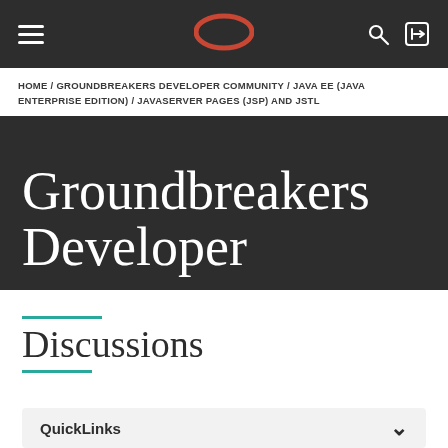Navigation bar with hamburger menu, Oracle logo, search and login icons
HOME / GROUNDBREAKERS DEVELOPER COMMUNITY / JAVA EE (JAVA ENTERPRISE EDITION) / JAVASERVER PAGES (JSP) AND JSTL
Groundbreakers Developer
Discussions
QuickLinks